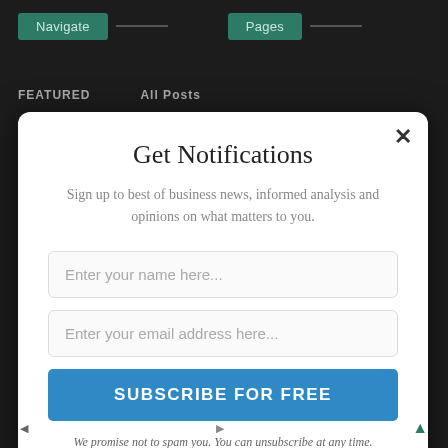[Figure (screenshot): Dark website background with teal navigation buttons labeled 'Navigate' and 'Pages' with lines extending to the right]
Get Notifications
Sign up to best of business news, informed analysis and opinions on what matters to you.
Enter your name here...
Enter your email address here...
SUBSCRIBE FOR FREE
We promise not to spam you. You can unsubscribe at any time.